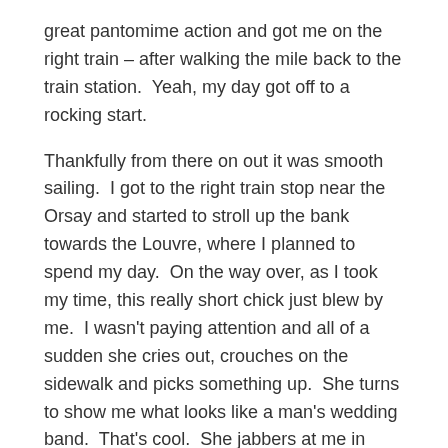great pantomime action and got me on the right train – after walking the mile back to the train station.  Yeah, my day got off to a rocking start.
Thankfully from there on out it was smooth sailing.  I got to the right train stop near the Orsay and started to stroll up the bank towards the Louvre, where I planned to spend my day.  On the way over, as I took my time, this really short chick just blew by me.  I wasn't paying attention and all of a sudden she cries out, crouches on the sidewalk and picks something up.  She turns to show me what looks like a man's wedding band.  That's cool.  She jabbers at me in French, tries it on, pouts and then offers it to me.  I don't want it but she's insisting I try it on.  I'm starting to get a little suspicious of what's really going on when she then asks me to give her money for the ring.
Ug.  A scammer.  I politely disengage and walk off